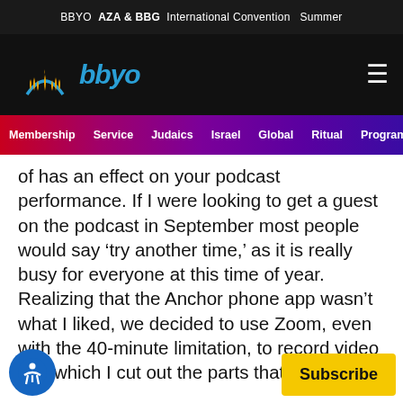BBYO  AZA & BBG  International Convention  Summer
[Figure (logo): BBYO logo with menorah-style flame icon and blue 'bbyo' wordmark]
Membership  Service  Judaics  Israel  Global  Ritual  Programm
of has an effect on your podcast performance. If I were looking to get a guest on the podcast in September most people would say 'try another time,' as it is really busy for everyone at this time of year. Realizing that the Anchor phone app wasn't what I liked, we decided to use Zoom, even with the 40-minute limitation, to record video and which I cut out the parts that weren't